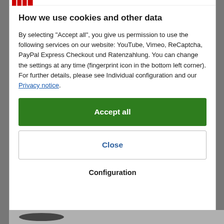How we use cookies and other data
By selecting "Accept all", you give us permission to use the following services on our website: YouTube, Vimeo, ReCaptcha, PayPal Express Checkout und Ratenzahlung. You can change the settings at any time (fingerprint icon in the bottom left corner). For further details, please see Individual configuration and our Privacy notice.
Accept all
Close
Configuration